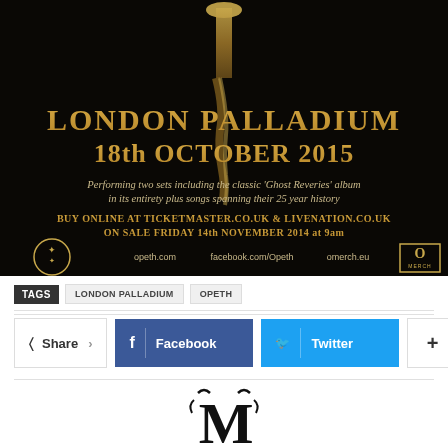[Figure (photo): Concert promotional poster for Opeth at London Palladium on 18th October 2015. Black background with gold decorative element at top. Text: 'LONDON PALLADIUM / 18th OCTOBER 2015 / Performing two sets including the classic Ghost Reveries album in its entirety plus songs spanning their 25 year history / BUY ONLINE AT TICKETMASTER.CO.UK & LIVENATION.CO.UK / ON SALE FRIDAY 14th NOVEMBER 2014 at 9am'. Bottom: Opeth logo, opeth.com, facebook.com/Opeth, omerch.eu, O Merch logo.]
TAGS  LONDON PALLADIUM  OPETH
Share  Facebook  Twitter  +
[Figure (logo): Decorative monogram logo at bottom of page, black gothic lettering]